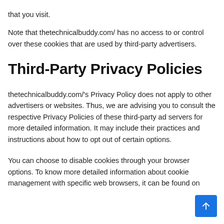that you visit.
Note that thetechnicalbuddy.com/ has no access to or control over these cookies that are used by third-party advertisers.
Third-Party Privacy Policies
thetechnicalbuddy.com/'s Privacy Policy does not apply to other advertisers or websites. Thus, we are advising you to consult the respective Privacy Policies of these third-party ad servers for more detailed information. It may include their practices and instructions about how to opt out of certain options.
You can choose to disable cookies through your browser options. To know more detailed information about cookie management with specific web browsers, it can be found on